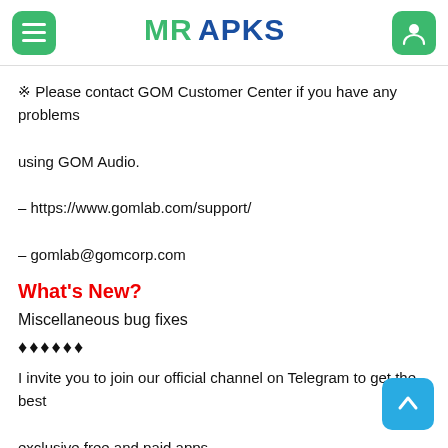MRAPKS
※ Please contact GOM Customer Center if you have any problems using GOM Audio.
– https://www.gomlab.com/support/
– gomlab@gomcorp.com
What's New?
Miscellaneous bug fixes
♦♦♦♦♦♦
I invite you to join our official channel on Telegram to get the best exclusive free and paid apps
Telegram channel link: